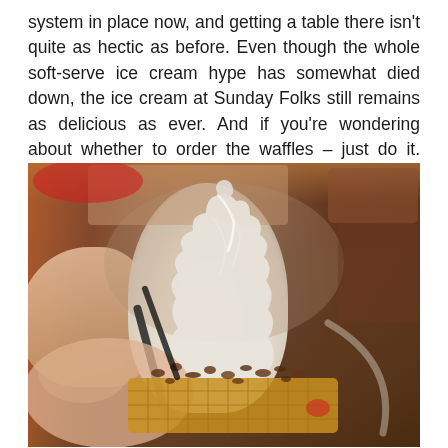system in place now, and getting a table there isn't quite as hectic as before. Even though the whole soft-serve ice cream hype has somewhat died down, the ice cream at Sunday Folks still remains as delicious as ever. And if you're wondering about whether to order the waffles – just do it. #NORAGRATS
[Figure (photo): Close-up photograph of a soft-serve ice cream swirl on top of a waffle, being held by hands, with toppings on a plate visible in the background]